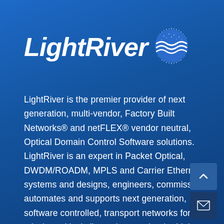[Figure (logo): LightRiver logo: italic bold white text 'LightRiver' with a globe/sphere icon featuring wave lines and dot pattern on the right]
LightRiver is the premier provider of next generation, multi-vendor, Factory Built Networks® and netFLEX® vendor neutral, Optical Domain Control Software solutions. LightRiver is an expert in Packet Optical, DWDM/ROADM, MPLS and Carrier Ethernet systems and designs, engineers, commissions, automates and supports next generation, software controlled, transport networks for mission-critical clients that require the highest capacity, reliability, resiliency and manageability that today's optical communications technology